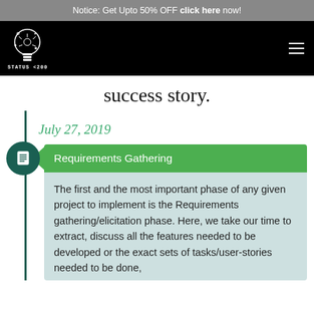Notice: Get Upto 50% OFF click here now!
[Figure (logo): STATUS <200/> lightbulb logo on black background with hamburger menu]
success story.
July 27, 2019
Requirements Gathering
The first and the most important phase of any given project to implement is the Requirements gathering/elicitation phase. Here, we take our time to extract, discuss all the features needed to be developed or the exact sets of tasks/user-stories needed to be done,